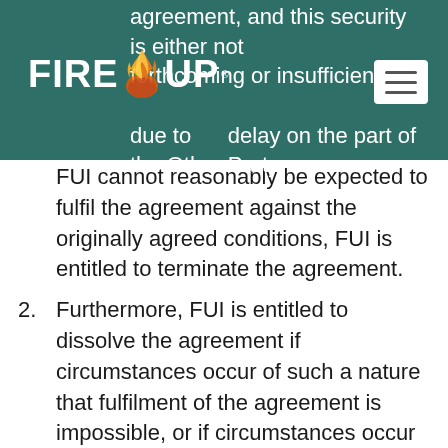FIRE UP (logo with flame icon)
agreement, and this security is either not forthcoming or insufficient. due to a delay on the part of the Other Party, FUI cannot reasonably be expected to fulfil the agreement against the originally agreed conditions, FUI is entitled to terminate the agreement.
2. Furthermore, FUI is entitled to dissolve the agreement if circumstances occur of such a nature that fulfilment of the agreement is impossible, or if circumstances occur of such a nature that unaltered adherence to the agreement cannot reasonably be expected of FUI.
3. In the event that the agreement is dissolved, any valid claims by FUI against the Other Party become immediately due and payable. If FUI